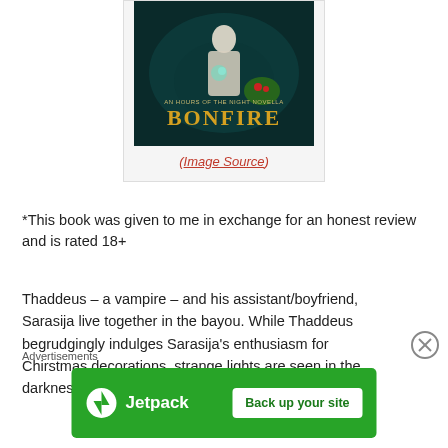[Figure (illustration): Book cover for 'Bonfire: An Hours of the Night Novella' showing dark fantasy imagery with a person in white and glowing green holly, text in gold letters.]
(Image Source)
*This book was given to me in exchange for an honest review and is rated 18+
Thaddeus – a vampire – and his assistant/boyfriend, Sarasija live together in the bayou. While Thaddeus begrudgingly indulges Sarasija's enthusiasm for Chirstmas decorations, strange lights are seen in the darkness which lure people away. To avoid being
Advertisements
[Figure (screenshot): Jetpack advertisement banner with green background showing Jetpack logo and 'Back up your site' button.]